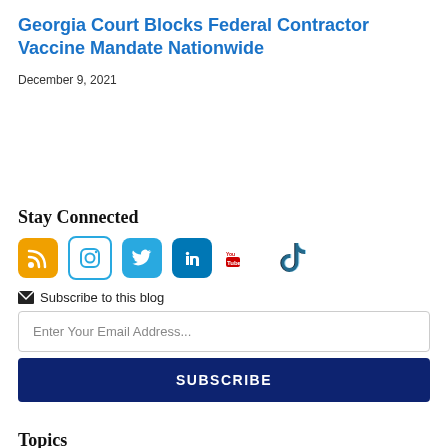Georgia Court Blocks Federal Contractor Vaccine Mandate Nationwide
December 9, 2021
Stay Connected
[Figure (other): Social media icons: RSS (orange), Instagram, Twitter, LinkedIn, YouTube, TikTok]
Subscribe to this blog
Enter Your Email Address...
SUBSCRIBE
Topics